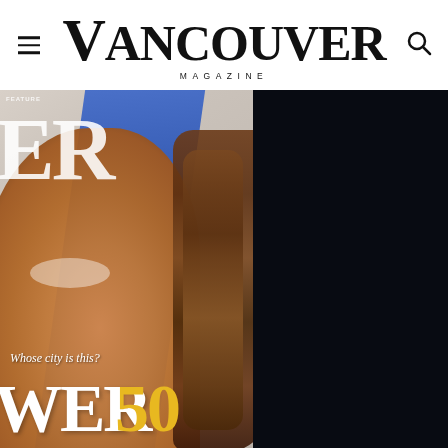Vancouver Magazine
[Figure (photo): A Vancouver Magazine cover featuring a smiling person with long dreadlocks, photographed at an angle. The cover shows text 'Whose city is this?' and 'POWER 50'. The right half of the image is dark/black background. The cover has a blue diagonal stripe behind the subject.]